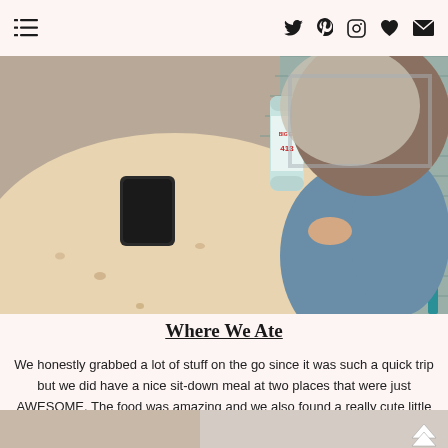☰ [menu icon] | Twitter Pinterest Instagram Heart Email [social icons]
[Figure (photo): A person sitting at a round wooden table on an outdoor deck, holding a can (Big Blue 413), with a phone on the table and fallen leaves on the deck boards.]
Where We Ate
We honestly grabbed a lot of stuff on the go since it was such a quick trip but we did have a nice sit-down meal at two places that were just AWESOME. The food was amazing and we also found a really cute little coffee spot!
[Figure (photo): Bottom strip of another outdoor photo, partially visible.]